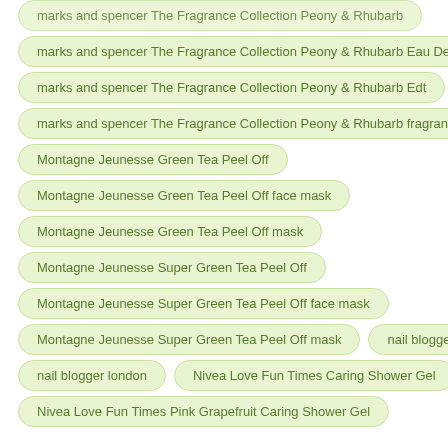marks and spencer The Fragrance Collection Peony & Rhubarb Eau De Toilette
marks and spencer The Fragrance Collection Peony & Rhubarb Edt
marks and spencer The Fragrance Collection Peony & Rhubarb fragrance
Montagne Jeunesse Green Tea Peel Off
Montagne Jeunesse Green Tea Peel Off face mask
Montagne Jeunesse Green Tea Peel Off mask
Montagne Jeunesse Super Green Tea Peel Off
Montagne Jeunesse Super Green Tea Peel Off face mask
Montagne Jeunesse Super Green Tea Peel Off mask
nail blogger
nail blogger london
Nivea Love Fun Times Caring Shower Gel
Nivea Love Fun Times Pink Grapefruit Caring Shower Gel